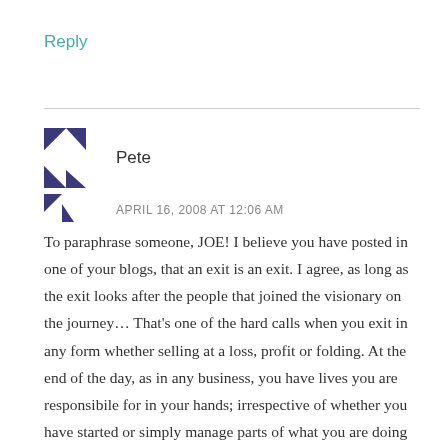Reply
Pete
APRIL 16, 2008 AT 12:06 AM
To paraphrase someone, JOE! I believe you have posted in one of your blogs, that an exit is an exit. I agree, as long as the exit looks after the people that joined the visionary on the journey… That's one of the hard calls when you exit in any form whether selling at a loss, profit or folding. At the end of the day, as in any business, you have lives you are responsibile for in your hands; irrespective of whether you have started or simply manage parts of what you are doing as an FTE. It's a bigger picture kind of thing (shareholders first,